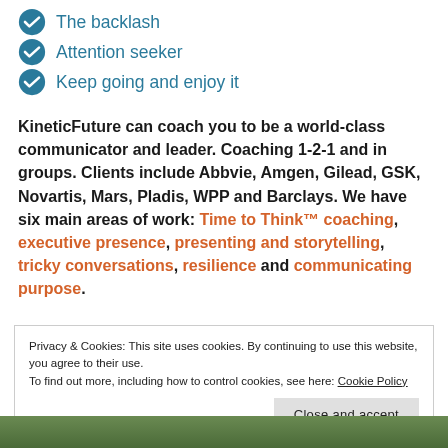The backlash
Attention seeker
Keep going and enjoy it
KineticFuture can coach you to be a world-class communicator and leader. Coaching 1-2-1 and in groups. Clients include Abbvie, Amgen, Gilead, GSK, Novartis, Mars, Pladis, WPP and Barclays. We have six main areas of work: Time to Think™ coaching, executive presence, presenting and storytelling, tricky conversations, resilience and communicating purpose.
Privacy & Cookies: This site uses cookies. By continuing to use this website, you agree to their use.
To find out more, including how to control cookies, see here: Cookie Policy
Close and accept